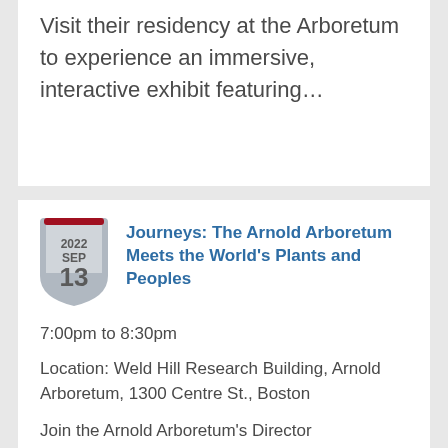Visit their residency at the Arboretum to experience an immersive, interactive exhibit featuring...
Journeys: The Arnold Arboretum Meets the World's Plants and Peoples
7:00pm to 8:30pm
Location: Weld Hill Research Building, Arnold Arboretum, 1300 Centre St., Boston
Join the Arnold Arboretum's Director